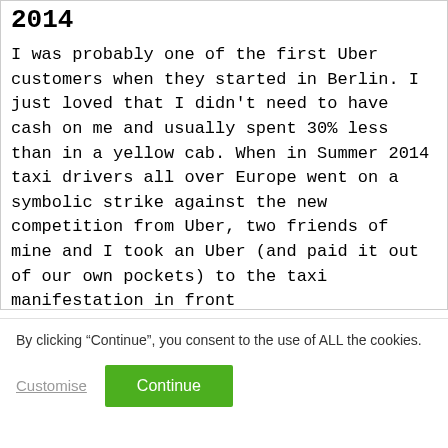2014
I was probably one of the first Uber customers when they started in Berlin. I just loved that I didn't need to have cash on me and usually spent 30% less than in a yellow cab. When in Summer 2014 taxi drivers all over Europe went on a symbolic strike against the new competition from Uber, two friends of mine and I took an Uber (and paid it out of our own pockets) to the taxi manifestation in front
By clicking “Continue”, you consent to the use of ALL the cookies.